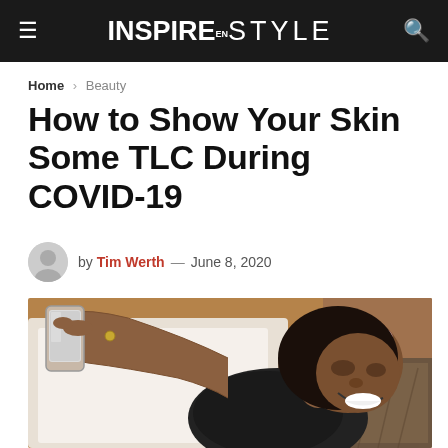INSPIRE EN STYLE
Home > Beauty
How to Show Your Skin Some TLC During COVID-19
by Tim Werth — June 8, 2020
[Figure (photo): A smiling young woman lying in bed wearing a pink sleep mask pushed up on her forehead, taking a selfie with a smartphone. She is wearing a black t-shirt and has long braided hair.]